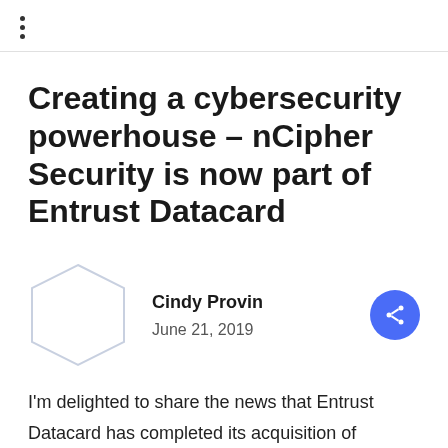⋮
Creating a cybersecurity powerhouse – nCipher Security is now part of Entrust Datacard
Cindy Provin
June 21, 2019
I'm delighted to share the news that Entrust Datacard has completed its acquisition of nCipher